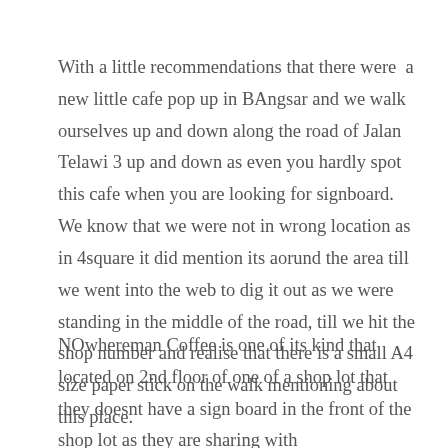With a little recommendations that there were  a new little cafe pop up in BAngsar and we walk ourselves up and down along the road of Jalan Telawi 3 up and down as even you hardly spot this cafe when you are looking for signboard. We know that we were not in wrong location as in 4square it did mention its aorund the area till we went into the web to dig it out as we were standing in the middle of the road, till we hit the shop number and realise that there is a small A4 size paper stick on the walk mentioning about this place.
NOwhereman Coffee is one of its kind that located on 2nd floor of one of a shop lot that they doesnt have a sign board in the front of the shop lot as they are sharing with